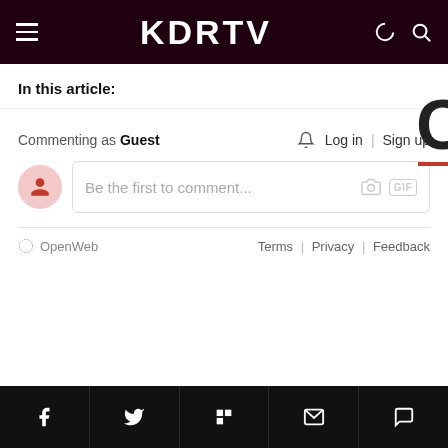KDRTV
In this article:
Commenting as Guest   Log in | Sign up
Be the first to comment...
OpenWeb   Terms | Privacy | Feedback
Social icons: Facebook, Twitter, Flipboard, Email, Comment